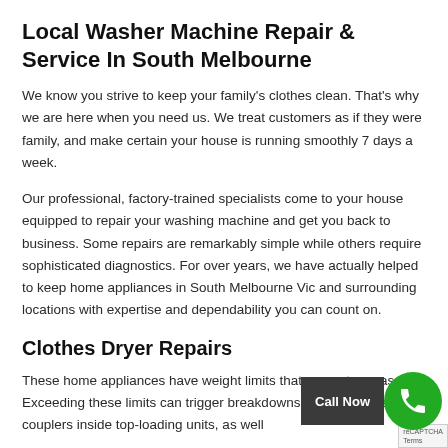Local Washer Machine Repair & Service In South Melbourne
We know you strive to keep your family’s clothes clean. That’s why we are here when you need us. We treat customers as if they were family, and make certain your house is running smoothly 7 days a week.
Our professional, factory-trained specialists come to your house equipped to repair your washing machine and get you back to business. Some repairs are remarkably simple while others require sophisticated diagnostics. For over years, we have actually helped to keep home appliances in South Melbourne Vic and surrounding locations with expertise and dependability you can count on.
Clothes Dryer Repairs
These home appliances have weight limits that you not surpass. Exceeding these limits can trigger breakdowns by frying belts and couplers inside top-loading units, as well